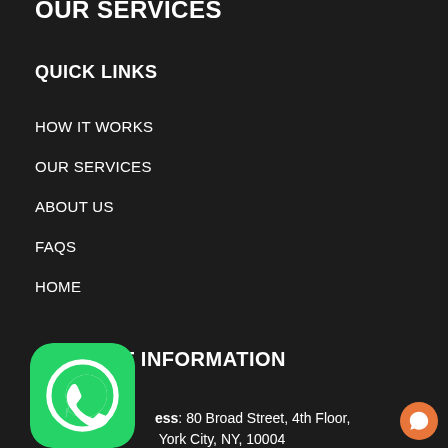OUR SERVICES
QUICK LINKS
HOW IT WORKS
OUR SERVICES
ABOUT US
FAQs
HOME
CONTACT INFORMATION
Address: 80 Broad Street, 4th Floor, New York City, NY, 10004